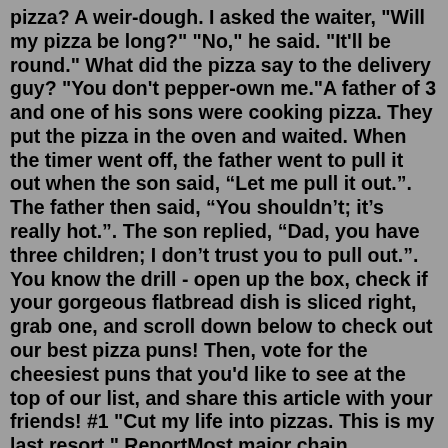pizza? A weir-dough. I asked the waiter, "Will my pizza be long?" "No," he said. "It'll be round." What did the pizza say to the delivery guy? "You don't pepper-own me."A father of 3 and one of his sons were cooking pizza. They put the pizza in the oven and waited. When the timer went off, the father went to pull it out when the son said, “Let me pull it out.”. The father then said, “You shouldn’t; it’s really hot.”. The son replied, “Dad, you have three children; I don’t trust you to pull out.”. You know the drill - open up the box, check if your gorgeous flatbread dish is sliced right, grab one, and scroll down below to check out our best pizza puns! Then, vote for the cheesiest puns that you'd like to see at the top of our list, and share this article with your friends! #1 "Cut my life into pizzas. This is my last resort." ReportMost major chain restaurants have at least dabbled in plant-based meat at this point, and Pizza Hut is no exception. This past November, the nostalgia-loving pizza giant partnered with Beyond Meat to roll out Beyond